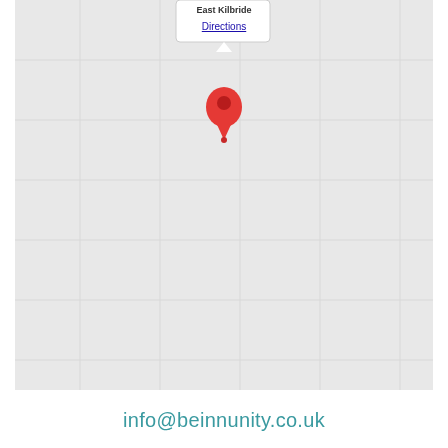[Figure (map): Google Maps screenshot showing a location pin dropped on a grey map area, with a popup tooltip showing bold text partially visible at top and a blue 'Directions' link]
info@beinnunity.co.uk
[Figure (infographic): Teal/dark cyan footer card showing 'Be-inn Unity' as title, with info@beinnuity.co.uk email and 07984628267 phone number in white text, and a circular dark green chat/message icon button in the bottom right corner]